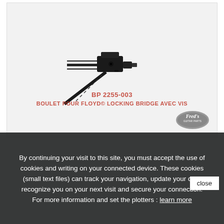[Figure (photo): Product photo of a black Floyd Rose guitar bridge saddle component (BP 2255-003) with locking bolt and threaded rod, shown on light gray background with Fred's Guitar Parts logo watermark in bottom right]
BP 2255-003
BOULET POUR FLOYD© LOCKING BRIDGE AVEC VIS
By continuing your visit to this site, you must accept the use of cookies and writing on your connected device. These cookies (small text files) can track your navigation, update your cart, recognize you on your next visit and secure your connection. For more information and set the plotters : learn more
close